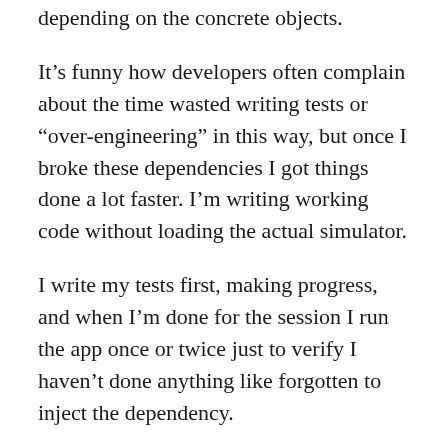depending on the concrete objects.
It’s funny how developers often complain about the time wasted writing tests or “over-engineering” in this way, but once I broke these dependencies I got things done a lot faster. I’m writing working code without loading the actual simulator.
I write my tests first, making progress, and when I’m done for the session I run the app once or twice just to verify I haven’t done anything like forgotten to inject the dependency.
Compare that to running the simulator constantly, each time hoping your code is functional. Who’s wasting their time now?